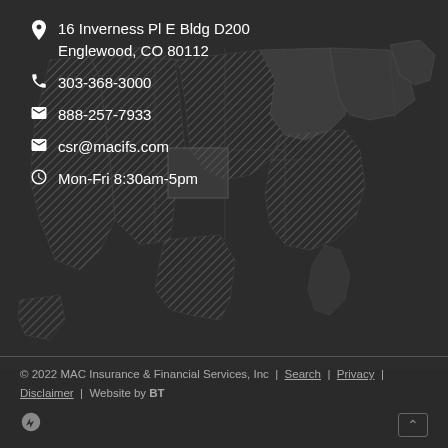[Figure (map): Dark background map of the United States with hatched/diagonal striped states indicating service coverage areas, centered-right on the page]
16 Inverness Pl E Bldg D200
Englewood, CO 80112
303-368-3000
888-257-7933
csr@macifs.com
Mon-Fri 8:30am-5pm
© 2022 MAC Insurance & Financial Services, Inc | Search | Privacy | Disclaimer | Website by BT